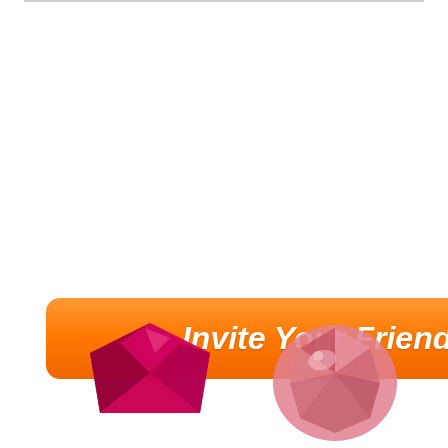[Figure (illustration): Orange rounded rectangle button with white bold italic text reading 'Invite Your Friends']
[Figure (illustration): Two gemstones/diamonds at the bottom of the page - a dark pink/magenta triangular cut gem on the left and a round pink diamond on the right, partially cropped]